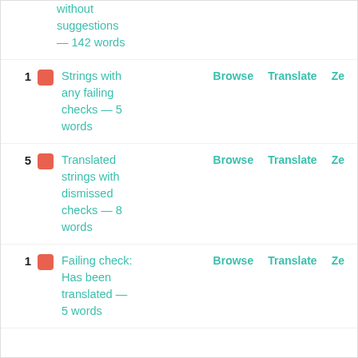without suggestions — 142 words
Strings with any failing checks — 5 words  Browse  Translate  Ze...
Translated strings with dismissed checks — 8 words  Browse  Translate  Ze...
Failing check: Has been translated — 5 words  Browse  Translate  Ze...